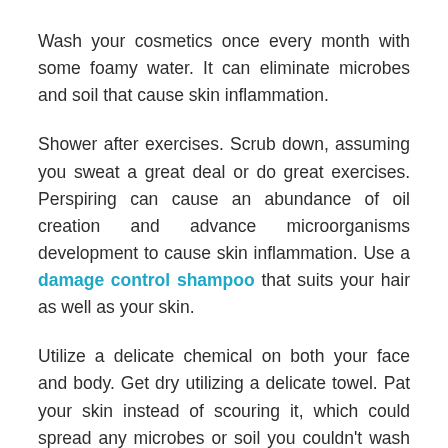Wash your cosmetics once every month with some foamy water. It can eliminate microbes and soil that cause skin inflammation.
Shower after exercises. Scrub down, assuming you sweat a great deal or do great exercises. Perspiring can cause an abundance of oil creation and advance microorganisms development to cause skin inflammation. Use a damage control shampoo that suits your hair as well as your skin.
Utilize a delicate chemical on both your face and body. Get dry utilizing a delicate towel. Pat your skin instead of scouring it, which could spread any microbes or soil you couldn't wash off and bother your skin.
Rub lotion on your skin day today. Select a skin-type quality or not to use this. Utilizing a lotion